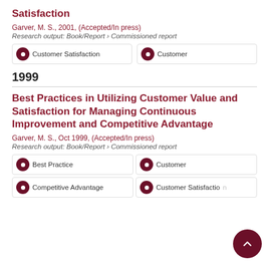Satisfaction
Garver, M. S., 2001, (Accepted/In press)
Research output: Book/Report › Commissioned report
Customer Satisfaction
Customer
1999
Best Practices in Utilizing Customer Value and Satisfaction for Managing Continuous Improvement and Competitive Advantage
Garver, M. S., Oct 1999, (Accepted/In press)
Research output: Book/Report › Commissioned report
Best Practice
Customer
Competitive Advantage
Customer Satisfaction